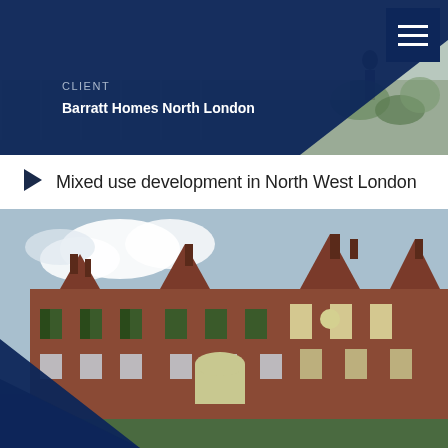[Figure (photo): Architectural rendering of a modern mixed-use development walkway with a person walking, metal railings and greenery]
CLIENT
Barratt Homes North London
Mixed use development in North West London
[Figure (photo): Photograph of a large Victorian-era red brick building with decorative gables and green-shuttered windows, mixed use development in North West London]